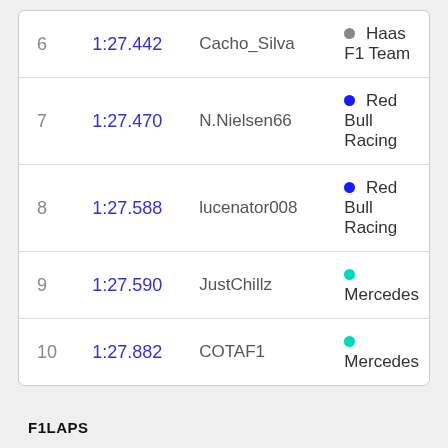| Pos | Time | Driver | Team |
| --- | --- | --- | --- |
| 6 | 1:27.442 | Cacho_Silva | Haas F1 Team |
| 7 | 1:27.470 | N.Nielsen66 | Red Bull Racing |
| 8 | 1:27.588 | lucenator008 | Red Bull Racing |
| 9 | 1:27.590 | JustChillz | Mercedes |
| 10 | 1:27.882 | COTAF1 | Mercedes |
F1LAPS